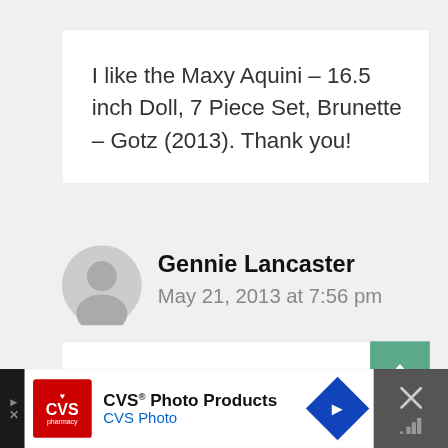I like the Maxy Aquini – 16.5 inch Doll, 7 Piece Set, Brunette – Gotz (2013). Thank you!
Gennie Lancaster
May 21, 2013 at 7:56 pm
My favorite is Cosy Aquini – 13 inch Doll, Blonde with Overalls.
[Figure (other): CVS Photo Products advertisement banner at the bottom of the page]